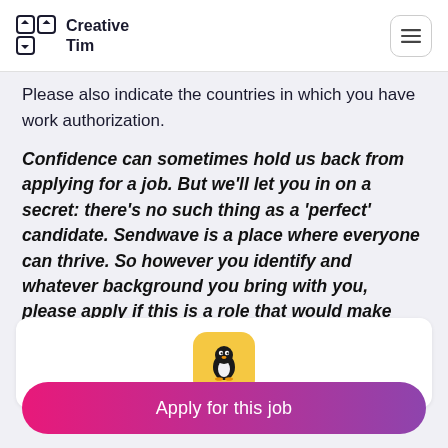Creative Tim
Please also indicate the countries in which you have work authorization.
Confidence can sometimes hold us back from applying for a job. But we'll let you in on a secret: there's no such thing as a 'perfect' candidate. Sendwave is a place where everyone can thrive. So however you identify and whatever background you bring with you, please apply if this is a role that would make you excited to wake up every day.
[Figure (logo): Sendwave app icon: yellow rounded square with black penguin character]
Apply for this job